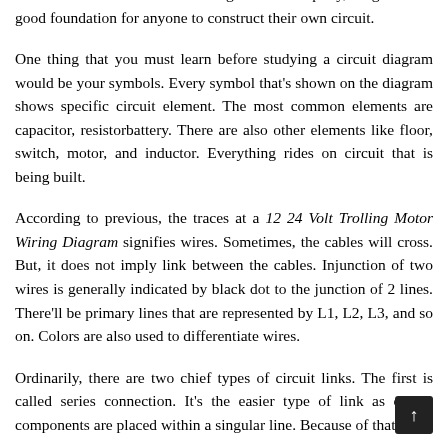elements inside the circuit. Though it is exemplary, diagram is a good foundation for anyone to construct their own circuit.
One thing that you must learn before studying a circuit diagram would be your symbols. Every symbol that's shown on the diagram shows specific circuit element. The most common elements are capacitor, resistorbattery. There are also other elements like floor, switch, motor, and inductor. Everything rides on circuit that is being built.
According to previous, the traces at a 12 24 Volt Trolling Motor Wiring Diagram signifies wires. Sometimes, the cables will cross. But, it does not imply link between the cables. Injunction of two wires is generally indicated by black dot to the junction of 2 lines. There'll be primary lines that are represented by L1, L2, L3, and so on. Colors are also used to differentiate wires.
Ordinarily, there are two chief types of circuit links. The first is called series connection. It's the easier type of link as circuit components are placed within a singular line. Because of that